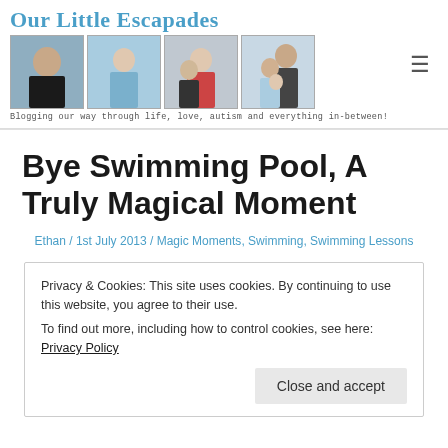[Figure (logo): Our Little Escapades blog header with site title, four family photos, and tagline]
Bye Swimming Pool, A Truly Magical Moment
Ethan / 1st July 2013 / Magic Moments, Swimming, Swimming Lessons
Privacy & Cookies: This site uses cookies. By continuing to use this website, you agree to their use. To find out more, including how to control cookies, see here: Privacy Policy
Close and accept